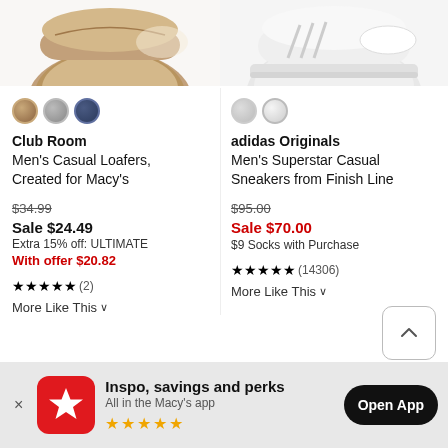[Figure (photo): Partial top view of Club Room Men's Casual Loafer shoe in brown/tan color, cropped at top]
[Figure (photo): Partial top view of adidas Originals Men's Superstar Casual Sneaker in white/gray color, cropped at top]
Club Room Men's Casual Loafers, Created for Macy's
$34.99 Sale $24.49 Extra 15% off: ULTIMATE With offer $20.82
★★★★★ (2)
More Like This ∨
adidas Originals Men's Superstar Casual Sneakers from Finish Line
$95.00 Sale $70.00 $9 Socks with Purchase
★★★★★ (14306)
More Like This ∨
Inspo, savings and perks All in the Macy's app ★★★★★
Open App